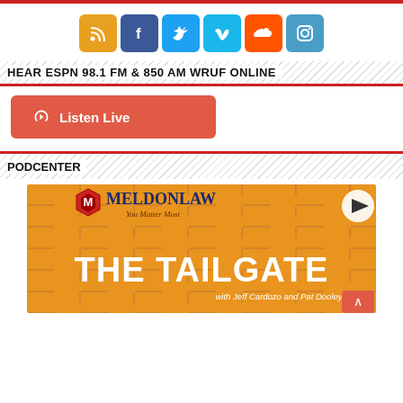[Figure (infographic): Social media icons row: RSS (orange), Facebook (blue), Twitter (light blue), Vimeo (teal), SoundCloud (orange), Instagram (blue-gray)]
HEAR ESPN 98.1 FM & 850 AM WRUF ONLINE
[Figure (infographic): Listen Live button with headphone icon, red/salmon colored button]
PODCENTER
[Figure (infographic): MeldonLaw podcast thumbnail - The Tailgate with Jeff Cardozo and Pat Dooley, orange tile background with play button]